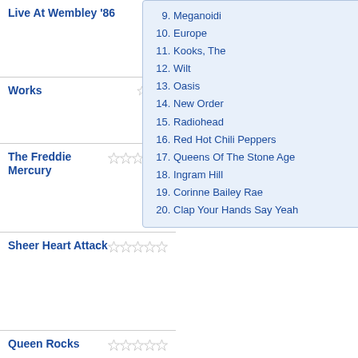Live At Wembley '86 ☆☆☆☆☆
Works ☆☆☆☆☆
The Freddie Mercury ☆☆☆☆☆
Sheer Heart Attack ☆☆☆☆☆
Queen Rocks ☆☆☆☆☆
Queen In Nuce ☆☆☆☆☆
Queen li ☆☆☆☆☆
[Figure (other): Dropdown list overlay showing numbered artists 9-20: 9. Meganoidi, 10. Europe, 11. Kooks The, 12. Wilt, 13. Oasis, 14. New Order, 15. Radiohead, 16. Red Hot Chili Peppers, 17. Queens Of The Stone Age, 18. Ingram Hill, 19. Corinne Bailey Rae, 20. Clap Your Hands Say Yeah]